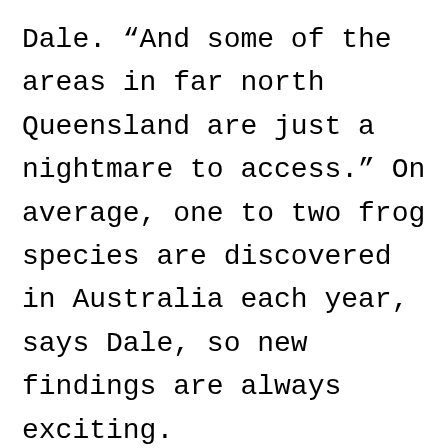Dale. “And some of the areas in far north Queensland are just a nightmare to access.” On average, one to two frog species are discovered in Australia each year, says Dale, so new findings are always exciting. Conrad and Kieran are planning further expeditions